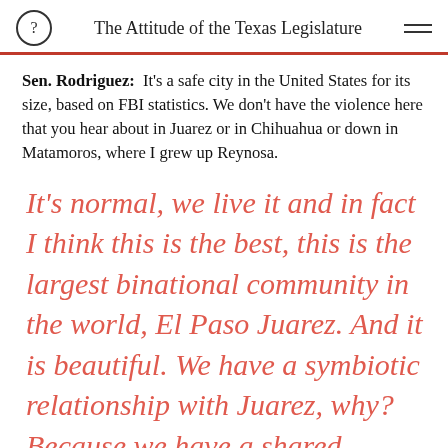The Attitude of the Texas Legislature
Sen. Rodriguez:  It's a safe city in the United States for its size, based on FBI statistics. We don't have the violence here that you hear about in Juarez or in Chihuahua or down in Matamoros, where I grew up Reynosa.
It's normal, we live it and in fact I think this is the best, this is the largest binational community in the world, El Paso Juarez. And it is beautiful. We have a symbiotic relationship with Juarez, why? Because we have a shared history, this related to...